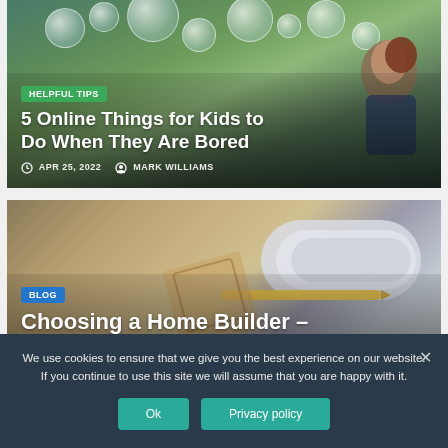[Figure (photo): Child blowing bubbles outdoors, article card with green 'HELPFUL TIPS' tag]
5 Online Things for Kids to Do When They Are Bored
APR 25, 2022   MARK WILLIAMS
[Figure (photo): Architectural model and rolled blueprints on desk, article card with blue 'BLOG' tag]
Choosing a Home Builder – What to Know
We use cookies to ensure that we give you the best experience on our website. If you continue to use this site we will assume that you are happy with it.
Ok   Privacy policy